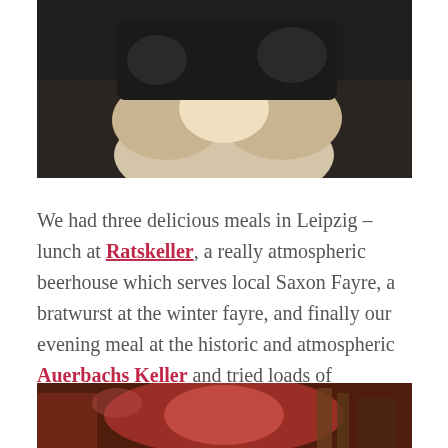[Figure (photo): A person holding food (bratwurst or bread roll) in both hands, close-up shot with dark background]
We had three delicious meals in Leipzig – lunch at Ratskeller, a really atmospheric beerhouse which serves local Saxon Fayre, a bratwurst at the winter fayre, and finally our evening meal at the historic and atmospheric Auerbachs Keller and tried loads of absolutely delicious local beer and even a Leipzig gin!
[Figure (photo): Interior of a restaurant or bar, warm reddish lighting, partial view of decor and furniture]